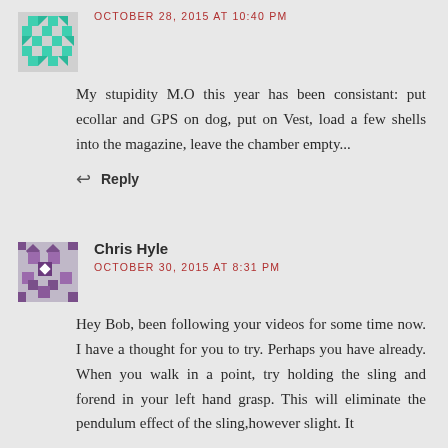[Figure (illustration): Green pixel/mosaic style avatar icon for first commenter]
OCTOBER 28, 2015 AT 10:40 PM
My stupidity M.O this year has been consistant: put ecollar and GPS on dog, put on Vest, load a few shells into the magazine, leave the chamber empty...
↩ Reply
[Figure (illustration): Purple/mauve pixel/mosaic style avatar icon for Chris Hyle]
Chris Hyle
OCTOBER 30, 2015 AT 8:31 PM
Hey Bob, been following your videos for some time now. I have a thought for you to try. Perhaps you have already. When you walk in a point, try holding the sling and forend in your left hand grasp. This will eliminate the pendulum effect of the sling,however slight. It